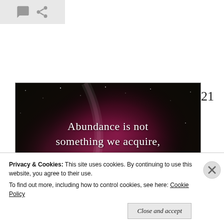[Figure (other): Toolbar with speech bubble and share icons on a grey background]
21
[Figure (illustration): Quote image with galaxy/nebula background showing the text: 'Abundance is not something we acquire, it's something we tune into.' - Wayne Dyer]
Privacy & Cookies: This site uses cookies. By continuing to use this website, you agree to their use.
To find out more, including how to control cookies, see here: Cookie Policy
Close and accept